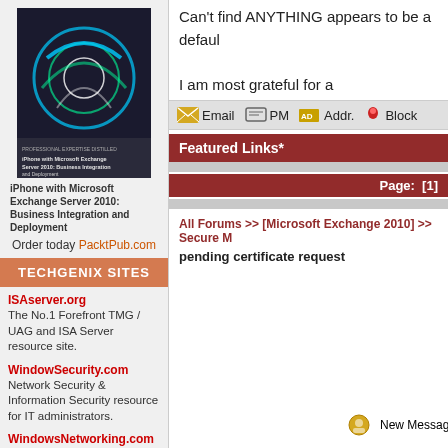[Figure (illustration): Book cover for 'iPhone with Microsoft Exchange Server 2010: Business Integration and Deployment' by Steve Goodman, Packt Publishing]
iPhone with Microsoft Exchange Server 2010: Business Integration and Deployment
Order today PacktPub.com
TECHGENIX SITES
ISAserver.org
The No.1 Forefront TMG / UAG and ISA Server resource site.
WindowSecurity.com
Network Security & Information Security resource for IT administrators.
WindowsNetworking.com
Windows Server 2008 / 2003 & Windows 7 networking resource site.
MSPAnswers.com
Resource site for Managed Service Providers
Can't find ANYTHING appears to be a defaul
I am most grateful for a
Email  PM  Addr.  Block
Featured Links*
Page: [1]
All Forums >> [Microsoft Exchange 2010] >> Secure M
pending certificate request
New Messages   No New Messages